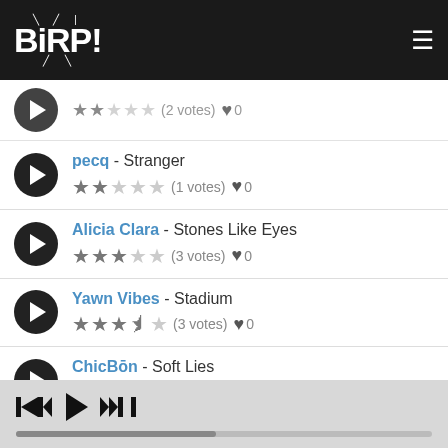[Figure (logo): BIRP! logo in white bubbly font on dark background header with hamburger menu icon]
pecq - Stranger | 2 stars (1 votes) heart 0
Alicia Clara - Stones Like Eyes | 3 stars (3 votes) heart 0
Yawn Vibes - Stadium | 3.5 stars (3 votes) heart 0
ChicBon - Soft Lies | 4 stars (4 votes) heart 0
Later Nader - So Run (partial)
[Figure (screenshot): Music player controls bar with skip-back, play, skip-forward buttons and progress bar]